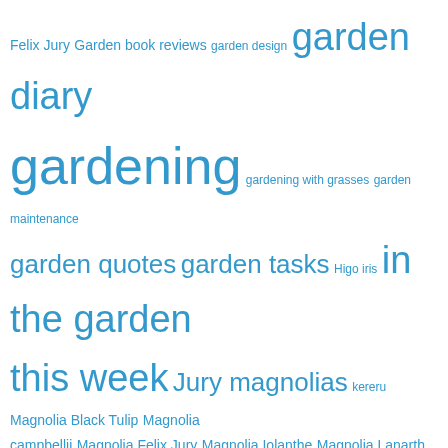[Figure (infographic): Tag cloud with garden/magnolia-related terms in various font sizes, all in blue. Larger terms include 'gardening', 'garden diary', 'Mark and Abbie Jury', 'Mark Jury', 'New Zealand magnolias', 'Taranaki gardens', 'Tikorangi:' etc.]